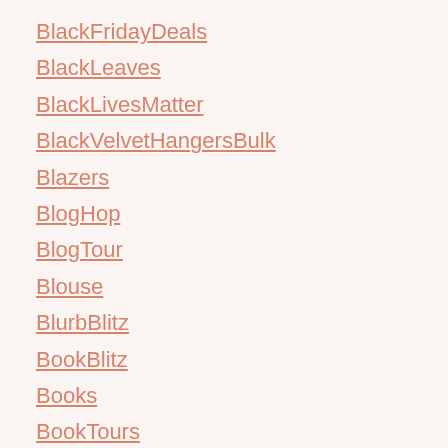BlackFridayDeals
BlackLeaves
BlackLivesMatter
BlackVelvetHangersBulk
Blazers
BlogHop
BlogTour
Blouse
BlurbBlitz
BookBlitz
Books
BookTours
Border
BorderPatrol
Boutique